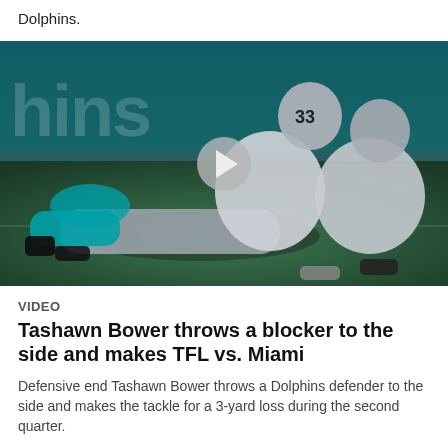Dolphins.
[Figure (photo): Football action photo showing NFL players during a tackle on a grass field. Two Oakland Raiders players in white/silver uniforms tackle a Miami Dolphins player in teal uniform. A play button overlay is centered on the image indicating a video.]
VIDEO
Tashawn Bower throws a blocker to the side and makes TFL vs. Miami
Defensive end Tashawn Bower throws a Dolphins defender to the side and makes the tackle for a 3-yard loss during the second quarter.